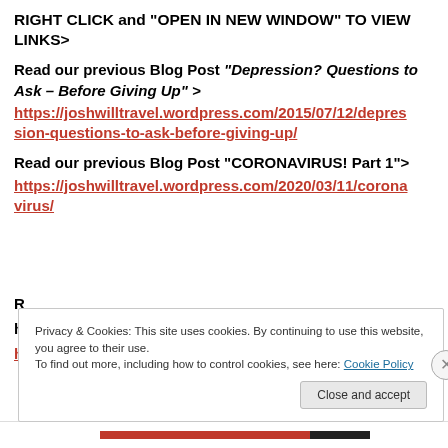RIGHT CLICK and “OPEN IN NEW WINDOW” TO VIEW LINKS>
Read our previous Blog Post “Depression? Questions to Ask – Before Giving Up” > https://joshwilltravel.wordpress.com/2015/07/12/depression-questions-to-ask-before-giving-up/
Read our previous Blog Post “CORONAVIRUS! Part 1”> https://joshwilltravel.wordpress.com/2020/03/11/coronavirus/
Privacy & Cookies: This site uses cookies. By continuing to use this website, you agree to their use.
To find out more, including how to control cookies, see here: Cookie Policy
Close and accept